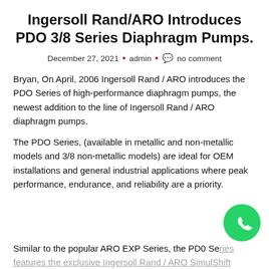Ingersoll Rand/ARO Introduces PDO 3/8 Series Diaphragm Pumps.
December 27, 2021 • admin • 💬 no comment
Bryan, On April, 2006 Ingersoll Rand / ARO introduces the PDO Series of high-performance diaphragm pumps, the newest addition to the line of Ingersoll Rand / ARO diaphragm pumps.
The PDO Series, (available in metallic and non-metallic models and 3/8 non-metallic models) are ideal for OEM installations and general industrial applications where peak performance, endurance, and reliability are a priority.
Similar to the popular ARO EXP Series, the PD0 Se... features the exclusive Ingersoll Rand / ARO SimulShift